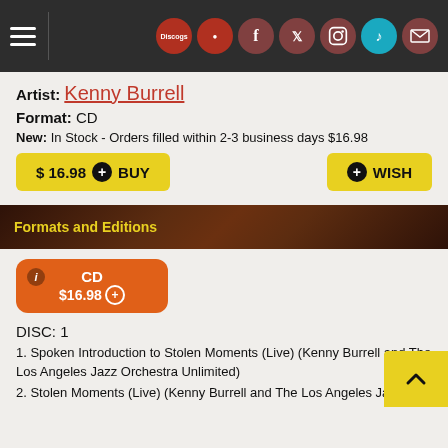Navigation header with social icons: Discogs, Facebook, Twitter, Instagram, TikTok, Mail
Artist: Kenny Burrell
Format: CD
New: In Stock - Orders filled within 2-3 business days $16.98
$ 16.98 + BUY | + WISH
Formats and Editions
CD $16.98 +
DISC: 1
1. Spoken Introduction to Stolen Moments (Live) (Kenny Burrell and The Los Angeles Jazz Orchestra Unlimited)
2. Stolen Moments (Live) (Kenny Burrell and The Los Angeles Jazz